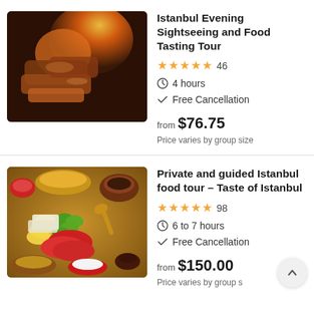Istanbul Evening Sightseeing and Food Tasting Tour
★★★★★ 46 | 4 hours | Free Cancellation | from $76.75 | Price varies by group size
Private and guided Istanbul food tour – Taste of Istanbul
★★★★★ 98 | 6 to 7 hours | Free Cancellation | from $150.00 | Price varies by group size